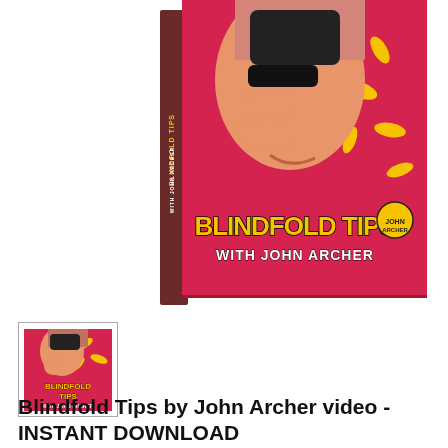[Figure (photo): DVD box set cover for 'Blindfold Tips with John Archer' showing a man in a tropical shirt with hand near face, cover text reads BLINDFOLD TIPS WITH JOHN ARCHER]
[Figure (photo): Thumbnail image of the same DVD box set cover for Blindfold Tips with John Archer]
Blindfold Tips by John Archer video - INSTANT DOWNLOAD